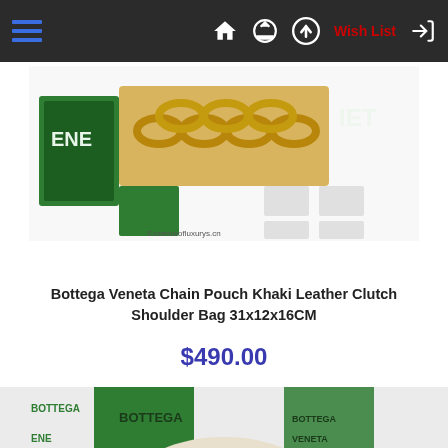Navigation bar with hamburger menu, home icon, upload icon, Wish List, and login arrow
[Figure (photo): Partial product photo showing Bottega Veneta chain pouch with gold chain, green branded packaging, and Essenceofluxurys.cn watermark]
Bottega Veneta Chain Pouch Khaki Leather Clutch Shoulder Bag 31x12x16CM
$490.00
[Figure (photo): Bottega Veneta chain pouch clutch bag in cream/khaki leather with chunky gold chain handle, displayed against green Bottega Veneta branded boxes and packaging]